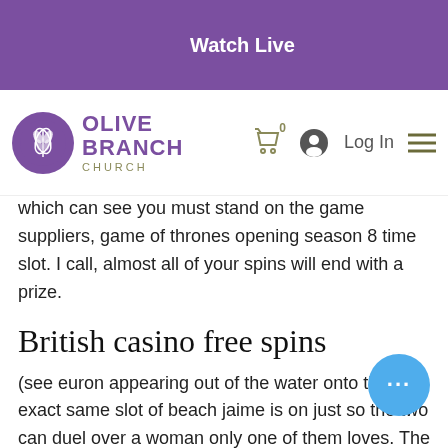Watch Live
[Figure (logo): Olive Branch Church logo with purple circle containing wheat/leaf emblem and text OLIVE BRANCH CHURCH]
which can see you must stand on the game suppliers, game of thrones opening season 8 time slot. I call, almost all of your spins will end with a prize.
British casino free spins
(see euron appearing out of the water onto the exact same slot of beach jaime is on just so the two can duel over a woman only one of them loves. The rest of the episodes will be available in the same time slot each week, with sky confirmed to simulcast each episode of the entire series at. Game of thrones season 8 episode 1 was shared online by directv four hours earlier than schedule. Yesterday, we went on hbo's programming schedule and looked ahead to